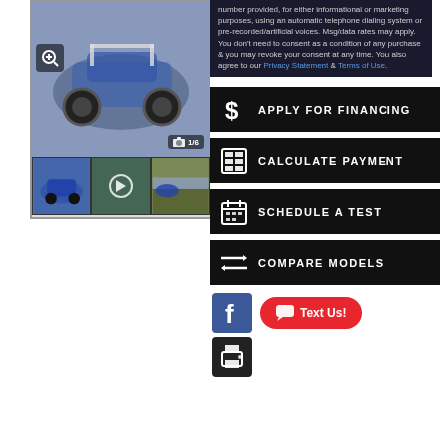[Figure (photo): Vehicle (UTV/side-by-side) image gallery with main photo of blue off-road vehicle, zoom button, camera icon showing 1/6, and three thumbnail images below including a play button on the second]
number provided, for either informational or marketing purposes, using an automatic telephone dialing system or pre-recorded/artificial voices. Msg/data rates may apply. You don't need to consent as a condition of any purchase & you may revoke your consent at any time. You also agree to our Privacy Statement & Terms of Use.
APPLY FOR FINANCING
CALCULATE PAYMENT
SCHEDULE A TEST
COMPARE MODELS
[Figure (logo): Facebook logo icon (blue square with white F)]
Text Us!
[Figure (other): Printer/document icon in dark box]